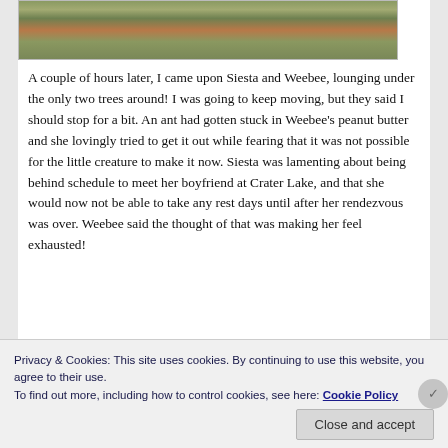[Figure (photo): Partial view of a desert/scrubland landscape with low green shrubs and reddish-orange soil, bottom portion of a photograph.]
A couple of hours later, I came upon Siesta and Weebee, lounging under the only two trees around! I was going to keep moving, but they said I should stop for a bit. An ant had gotten stuck in Weebee's peanut butter and she lovingly tried to get it out while fearing that it was not possible for the little creature to make it now. Siesta was lamenting about being behind schedule to meet her boyfriend at Crater Lake, and that she would now not be able to take any rest days until after her rendezvous was over. Weebee said the thought of that was making her feel exhausted!
Privacy & Cookies: This site uses cookies. By continuing to use this website, you agree to their use.
To find out more, including how to control cookies, see here: Cookie Policy